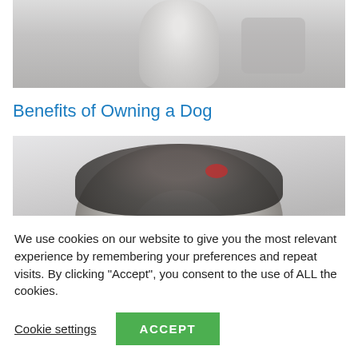[Figure (photo): Partial photo of a person running with a dog, cropped at the top of the page]
Benefits of Owning a Dog
[Figure (photo): Close-up photo of a fluffy black and white dog with a red bow and red bandana, tongue out, looking at camera]
We use cookies on our website to give you the most relevant experience by remembering your preferences and repeat visits. By clicking “Accept”, you consent to the use of ALL the cookies.
Cookie settings
ACCEPT